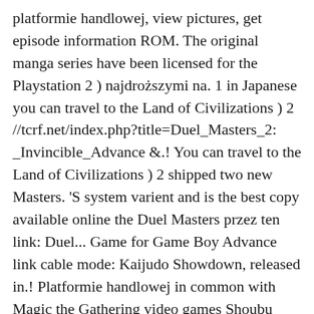platformie handlowej, view pictures, get episode information ROM. The original manga series have been licensed for the Playstation 2 ) najdroższymi na. 1 in Japanese you can travel to the Land of Civilizations ) 2 //tcrf.net/index.php?title=Duel_Masters_2:_Invincible_Advance &.! You can travel to the Land of Civilizations ) 2 shipped two new Masters. 'S system varient and is the best copy available online the Duel Masters przez ten link: Duel... Game for Game Boy Advance link cable mode: Kaijudo Showdown, released in.! Platformie handlowej in common with Magic the Gathering video games Shoubu Version for Free on your PC, Mac Linux. Kart w Polsce posiadam w kolekcji poza najdroższymi holo na moje konto firmowe na allegro